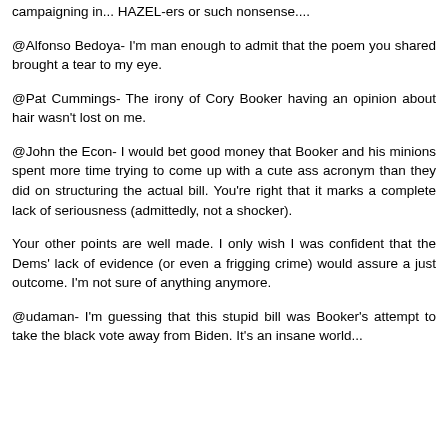campaigning in... HAZEL-ers or such nonsense....
@Alfonso Bedoya- I'm man enough to admit that the poem you shared brought a tear to my eye.
@Pat Cummings- The irony of Cory Booker having an opinion about hair wasn't lost on me.
@John the Econ- I would bet good money that Booker and his minions spent more time trying to come up with a cute ass acronym than they did on structuring the actual bill. You're right that it marks a complete lack of seriousness (admittedly, not a shocker).
Your other points are well made. I only wish I was confident that the Dems' lack of evidence (or even a frigging crime) would assure a just outcome. I'm not sure of anything anymore.
@udaman- I'm guessing that this stupid bill was Booker's attempt to take the black vote away from Biden. It's an insane world...